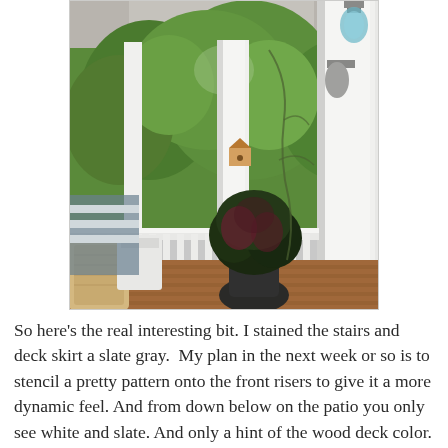[Figure (photo): A covered porch/deck with white railings, warm wood decking, green trees in background, a dark potted plant in foreground, white columns, and a small birdhouse visible on a column. A lantern hangs from the ceiling. Wicker furniture is visible on the left side.]
So here's the real interesting bit. I stained the stairs and deck skirt a slate gray.  My plan in the next week or so is to stencil a pretty pattern onto the front risers to give it a more dynamic feel. And from down below on the patio you only see white and slate. And only a hint of the wood deck color. So there's